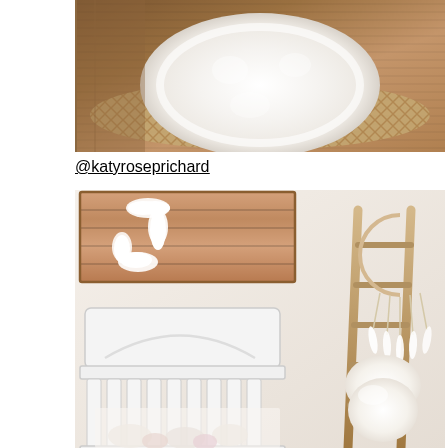[Figure (photo): Top-down view of a fluffy white round sheepskin rug on a wooden floor with a woven jute rug underneath]
@katyroseprichard
[Figure (photo): Boho nursery room with a wooden pallet sign featuring a fluffy letter J on the wall, a white baby crib, a rustic wooden ladder leaning against the wall with a fluffy sheepskin rug and a crescent moon dream catcher hanging from it]